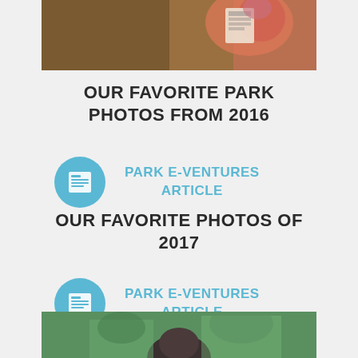[Figure (photo): A child in a pink shirt against a textured brown tree bark background, holding something with text on it]
OUR FAVORITE PARK PHOTOS FROM 2016
[Figure (illustration): Blue circle icon with a newspaper/article graphic inside]
PARK E-VENTURES
ARTICLE
OUR FAVORITE PHOTOS OF 2017
[Figure (illustration): Blue circle icon with a newspaper/article graphic inside]
PARK E-VENTURES
ARTICLE
[Figure (photo): A person viewed from behind against a green leafy outdoor background]